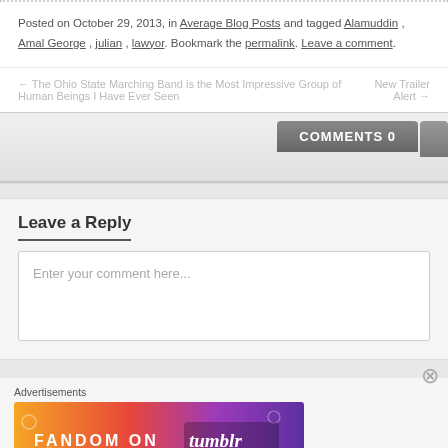Posted on October 29, 2013, in Average Blog Posts and tagged Alamuddin, Amal George, julian, lawyor. Bookmark the permalink. Leave a comment.
← The Ohio State Marching Band is the Most Impressive Group of Human Beings I Have Ever Seen    New Trailer Alert →
COMMENTS 0
Leave a Reply
Enter your comment here...
Advertisements
[Figure (illustration): Fandom on Tumblr advertisement banner with colorful orange to purple gradient background and white text/icons]